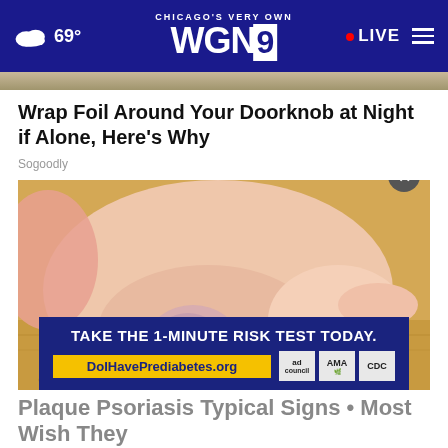CHICAGO'S VERY OWN WGN9 • LIVE | 69°
Wrap Foil Around Your Doorknob at Night if Alone, Here's Why
Sogoodly
[Figure (photo): Close-up photo of a human foot and ankle showing skin with discoloration/veins visible, against a wooden background. An advertisement overlay reads: TAKE THE 1-MINUTE RISK TEST TODAY. DoIHavePrediabetes.org with ad council, AMA, and CDC logos.]
Plaque Psoriasis Typical Signs • Most Wish They